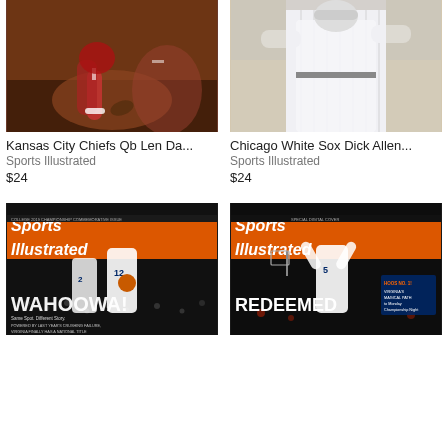[Figure (photo): Kansas City Chiefs QB football player reaching for ball on field, action shot]
Kansas City Chiefs Qb Len Da...
Sports Illustrated
$24
[Figure (photo): Chicago White Sox Dick Allen baseball player in pinstripe uniform]
Chicago White Sox Dick Allen...
Sports Illustrated
$24
[Figure (photo): Sports Illustrated magazine cover featuring Virginia basketball players with WAHOOWA! headline]
[Figure (photo): Sports Illustrated Special Digital Cover featuring Virginia basketball player #5 with REDEEMED headline]